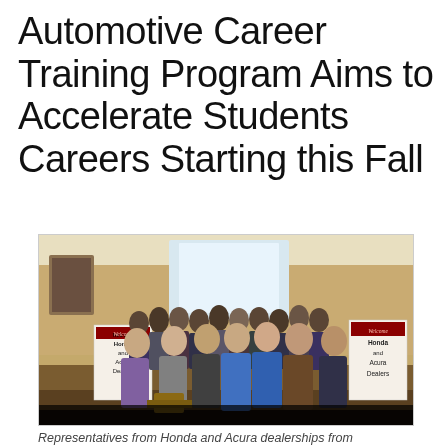Automotive Career Training Program Aims to Accelerate Students Careers Starting this Fall
[Figure (photo): Group photo of representatives from Honda and Acura dealerships gathered in a room. Two welcome signs reading 'Welcome Honda and Acura Dealers' are visible on left and right sides. A large group of men and women stand together, with several people in the front row prominently featured.]
Representatives from Honda and Acura dealerships from